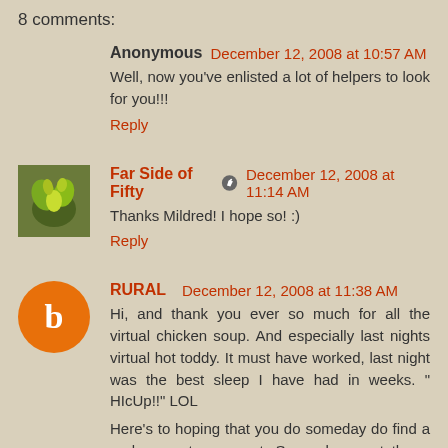8 comments:
Anonymous December 12, 2008 at 10:57 AM
Well, now you've enlisted a lot of helpers to look for you!!!
Reply
Far Side of Fifty December 12, 2008 at 11:14 AM
Thanks Mildred! I hope so! :)
Reply
RURAL December 12, 2008 at 11:38 AM
Hi, and thank you ever so much for all the virtual chicken soup. And especially last nights virtual hot toddy. It must have worked, last night was the best sleep I have had in weeks. " HIcUp!!" LOL
Here's to hoping that you do someday do find a replacement ornament. Somewhere out there, there must